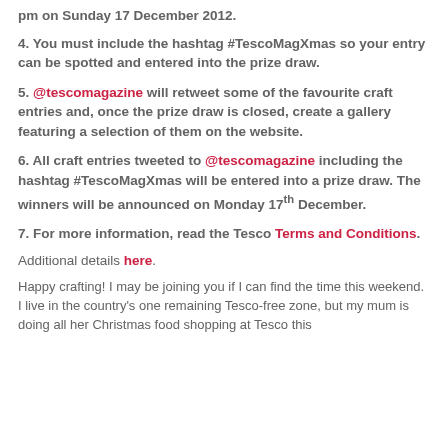pm on Sunday 17 December 2012.
4. You must include the hashtag #TescoMagXmas so your entry can be spotted and entered into the prize draw.
5. @tescomagazine will retweet some of the favourite craft entries and, once the prize draw is closed, create a gallery featuring a selection of them on the website.
6. All craft entries tweeted to @tescomagazine including the hashtag #TescoMagXmas will be entered into a prize draw. The winners will be announced on Monday 17th December.
7. For more information, read the Tesco Terms and Conditions.
Additional details here.
Happy crafting! I may be joining you if I can find the time this weekend. I live in the country's one remaining Tesco-free zone, but my mum is doing all her Christmas food shopping at Tesco this